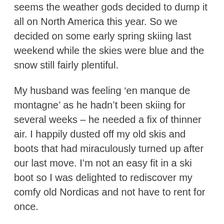seems the weather gods decided to dump it all on North America this year. So we decided on some early spring skiing last weekend while the skies were blue and the snow still fairly plentiful.
My husband was feeling ‘en manque de montagne’ as he hadn’t been skiing for several weeks – he needed a fix of thinner air. I happily dusted off my old skis and boots that had miraculously turned up after our last move. I’m not an easy fit in a ski boot so I was delighted to rediscover my comfy old Nordicas and not have to rent for once.
We went to our closest resort, Avoriaz. It was a